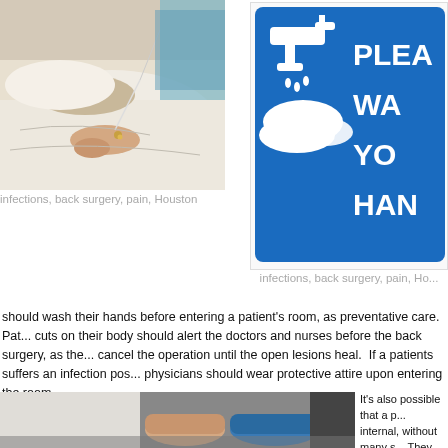[Figure (photo): Hospital patient lying in bed with IV drip attached to hand, medical setting]
infections, back surgery, pain, Houston
[Figure (photo): Blue 'Please Wash Your Hands' sign with white icons of faucet and hands being washed, text reads PLEA... WA... YO... HAN...]
infections, back surgery, pain, Ho...
should wash their hands before entering a patient's room, as preventative care.  Patients with open cuts on their body should alert the doctors and nurses before the back surgery, as they may need to cancel the operation until the open lesions heal.  If a patients suffers an infection post-surgery, physicians should wear protective attire upon entering the room.
[Figure (photo): Close-up of hands, one in white coat sleeve and one in blue glove, in a medical setting]
It's also possible that a patient's infection is internal, without many s... They should monitor pa... physician if they experi... fever. Depending on the...